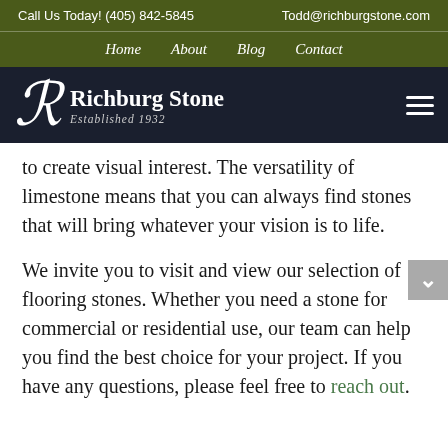Call Us Today! (405) 842-5845    Todd@richburgstone.com
Home   About   Blog   Contact
[Figure (logo): Richburg Stone logo with stylized R in script and 'Established 1932' tagline on dark navy background, with hamburger menu icon on right]
to create visual interest. The versatility of limestone means that you can always find stones that will bring whatever your vision is to life.
We invite you to visit and view our selection of flooring stones. Whether you need a stone for commercial or residential use, our team can help you find the best choice for your project. If you have any questions, please feel free to reach out.